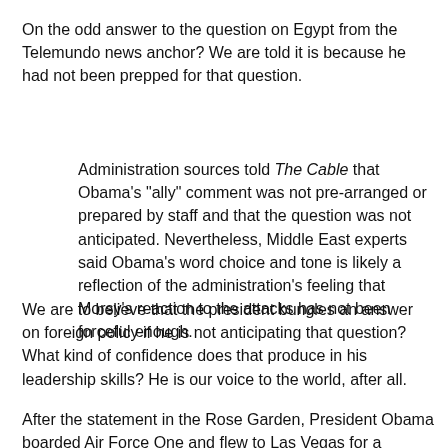On the odd answer to the question on Egypt from the Telemundo news anchor? We are told it is because he had not been prepped for that question.
Administration sources told The Cable that Obama's "ally" comment was not pre-arranged or prepared by staff and that the question was not anticipated. Nevertheless, Middle East experts said Obama's word choice and tone is likely a reflection of the administration's feeling that Morsy's reaction to the attacks has not been forceful enough.
We are to believe that the president bungles an answer on foreign policy if he is not anticipating that question? What kind of confidence does that produce in his leadership skills? He is our voice to the world, after all.
After the statement in the Rose Garden, President Obama boarded Air Force One and flew to Las Vegas for a